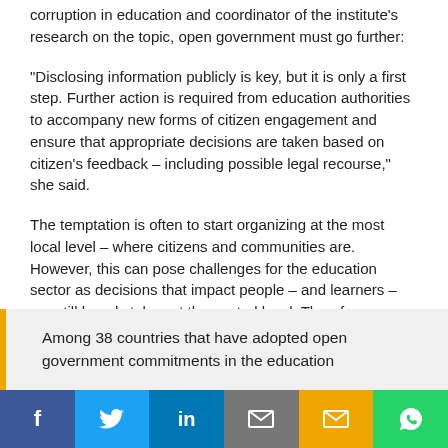corruption in education and coordinator of the institute's research on the topic, open government must go further:
“Disclosing information publicly is key, but it is only a first step. Further action is required from education authorities to accompany new forms of citizen engagement and ensure that appropriate decisions are taken based on citizen’s feedback – including possible legal recourse,” she said.
The temptation is often to start organizing at the most local level – where citizens and communities are. However, this can pose challenges for the education sector as decisions that impact people – and learners – are still largely taken at the central level. Therefore, national actors continue to play a large role in the successful implementation of open government.
Among 38 countries that have adopted open government commitments in the education
Social share bar: Facebook, Twitter, LinkedIn, Email, Email, WhatsApp